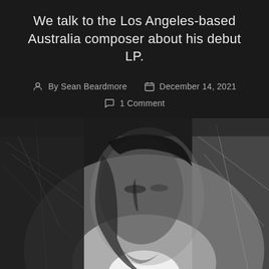We talk to the Los Angeles-based Australia composer about his debut LP.
By Sean Beardmore   December 14, 2021   1 Comment
[Figure (photo): Black and white photograph of a man with dark hair looking upward, with a dramatic background featuring butterfly-like or wing-like textures on the left and right sides, and a bright light source glowing behind him.]